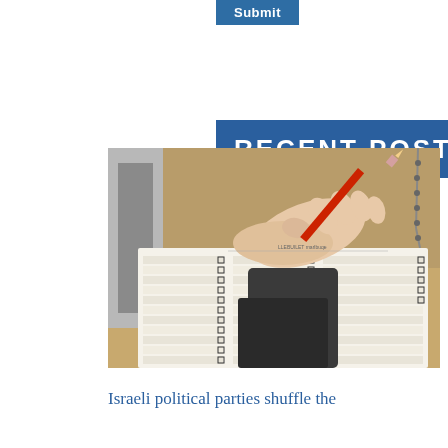Submit
RECENT POSTS
[Figure (photo): A hand holding a red pencil marking choices on a printed ballot or voting form with multiple columns and checkboxes]
Israeli political parties shuffle the